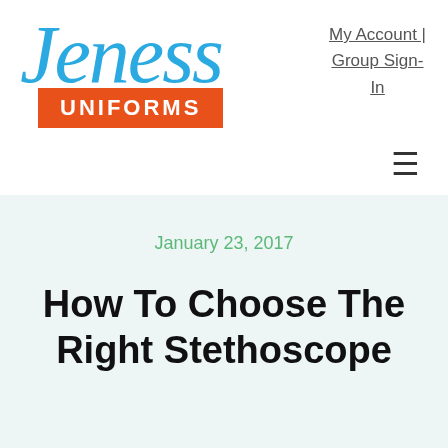[Figure (logo): Jeness Uniforms logo: 'Jeness' in blue cursive script above an orange rectangle with 'UNIFORMS' in white bold uppercase letters]
My Account | Group Sign-In
January 23, 2017
How To Choose The Right Stethoscope